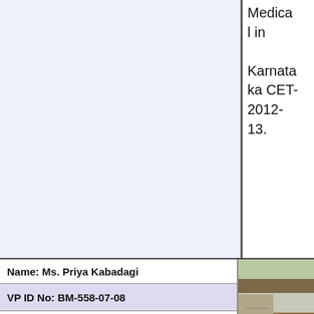Medical in Karnataka CET-2012-13.
Name: Ms. Priya Kabadagi
VP ID No: BM-558-07-08
Selected for IIT  Chennai . She secured 410 All India Rank in JAT (Joint Admission Test) and she joined M.Sc Mathematics.
[Figure (photo): Photo of Ms. Priya Kabadagi standing in front of a house door]
Name: Santosh S Bhat
VP ID No: UK-13